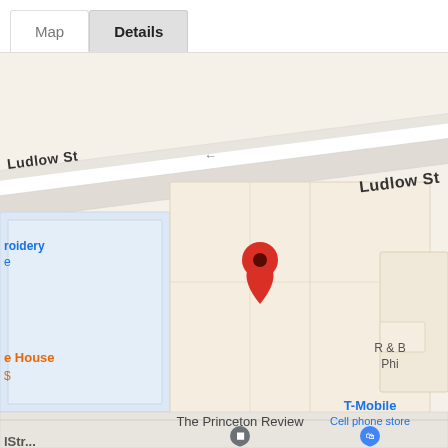[Figure (screenshot): Mobile app tab bar showing 'Map' and 'Details' tabs, with 'Details' tab selected (bold, gray background)]
[Figure (map): Google Maps screenshot showing Ludlow St with a red location pin marker. Nearby labels include 'roidery', 'e House $', 'R & B Phi', 'T-Mobile Cell phone store', and 'The Princeton Review' with place markers.]